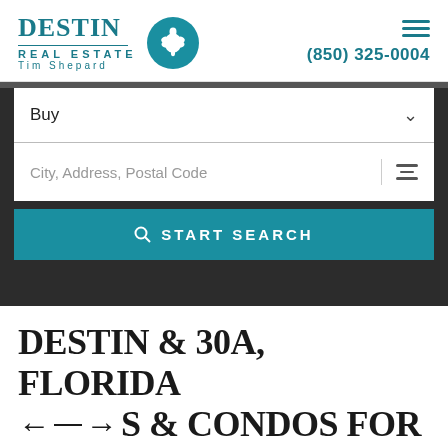[Figure (logo): Destin Real Estate Tim Shepard logo with teal turtle circle icon]
(850) 325-0004
Buy
City, Address, Postal Code
START SEARCH
DESTIN & 30A, FLORIDA HOMES & CONDOS FOR